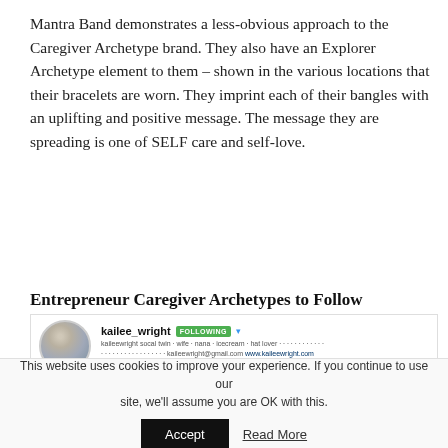Mantra Band demonstrates a less-obvious approach to the Caregiver Archetype brand. They also have an Explorer Archetype element to them – shown in the various locations that their bracelets are worn. They imprint each of their bangles with an uplifting and positive message. The message they are spreading is one of SELF care and self-love.
Entrepreneur Caregiver Archetypes to Follow
[Figure (screenshot): Instagram profile screenshot of kailee_wright showing profile photo, following button, bio text, stats (1,023 posts, 68.9k followers, 394 following), and three thumbnail photos below]
This website uses cookies to improve your experience. If you continue to use our site, we'll assume you are OK with this.